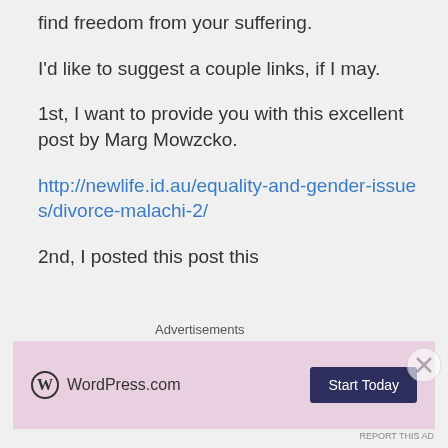find freedom from your suffering.
I'd like to suggest a couple links, if I may.
1st, I want to provide you with this excellent post by Marg Mowzcko.
http://newlife.id.au/equality-and-gender-issues/divorce-malachi-2/
2nd, I posted this post this
Advertisements
[Figure (screenshot): WordPress.com advertisement banner with logo and Start Today button]